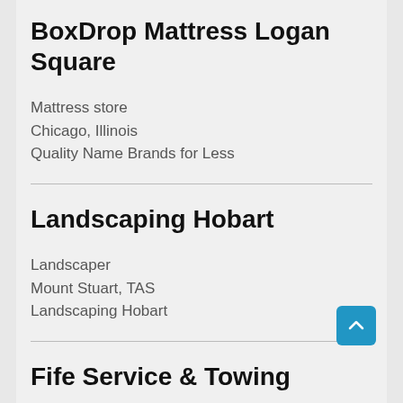BoxDrop Mattress Logan Square
Mattress store
Chicago, Illinois
Quality Name Brands for Less
Landscaping Hobart
Landscaper
Mount Stuart, TAS
Landscaping Hobart
Fife Service & Towing
Towing service
Fife, Washington